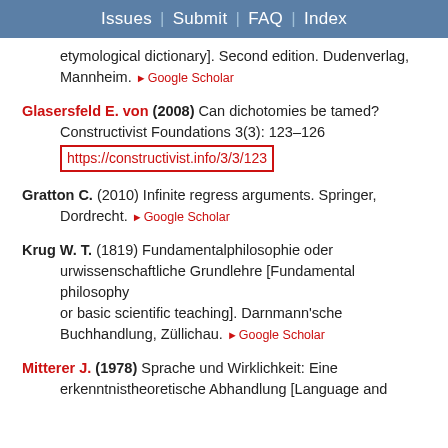Issues | Submit | FAQ | Index
etymological dictionary]. Second edition. Dudenverlag, Mannheim. ▶ Google Scholar
Glasersfeld E. von (2008) Can dichotomies be tamed? Constructivist Foundations 3(3): 123–126 https://constructivist.info/3/3/123
Gratton C. (2010) Infinite regress arguments. Springer, Dordrecht. ▶ Google Scholar
Krug W. T. (1819) Fundamentalphilosophie oder urwissenschaftliche Grundlehre [Fundamental philosophy or basic scientific teaching]. Darnmann'sche Buchhandlung, Züllichau. ▶ Google Scholar
Mitterer J. (1978) Sprache und Wirklichkeit: Eine erkenntnistheoretische Abhandlung [Language and